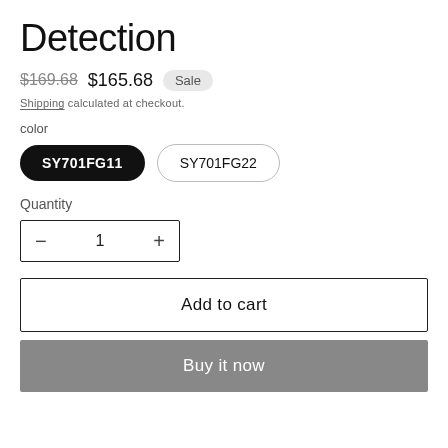Detection
$169.68  $165.68  Sale
Shipping calculated at checkout.
color
SY701FG11
SY701FG22
Quantity
- 1 +
Add to cart
Buy it now